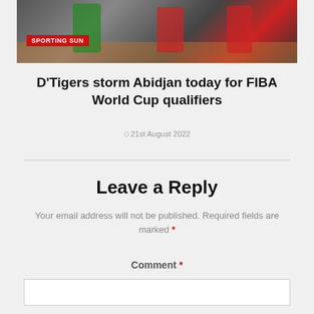[Figure (photo): Basketball game action photo with SPORTING SUN logo overlay on red background in bottom-left corner]
D'Tigers storm Abidjan today for FIBA World Cup qualifiers
21st August 2022
Leave a Reply
Your email address will not be published. Required fields are marked *
Comment *